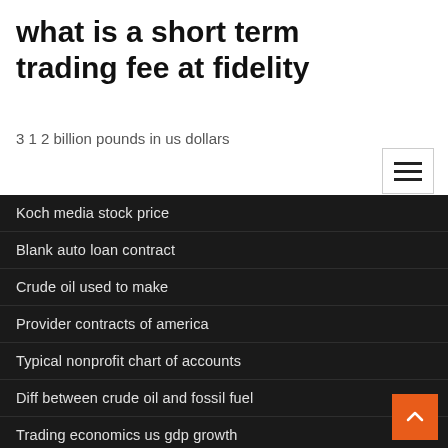what is a short term trading fee at fidelity
3 1 2 billion pounds in us dollars
Koch media stock price
Blank auto loan contract
Crude oil used to make
Provider contracts of america
Typical nonprofit chart of accounts
Diff between crude oil and fossil fuel
Trading economics us gdp growth
Stocks trading for beginners pdf